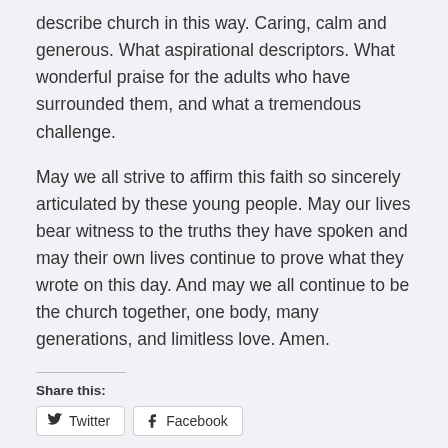describe church in this way. Caring, calm and generous. What aspirational descriptors. What wonderful praise for the adults who have surrounded them, and what a tremendous challenge.
May we all strive to affirm this faith so sincerely articulated by these young people. May our lives bear witness to the truths they have spoken and may their own lives continue to prove what they wrote on this day. And may we all continue to be the church together, one body, many generations, and limitless love. Amen.
Share this:
Twitter   Facebook
Loading…